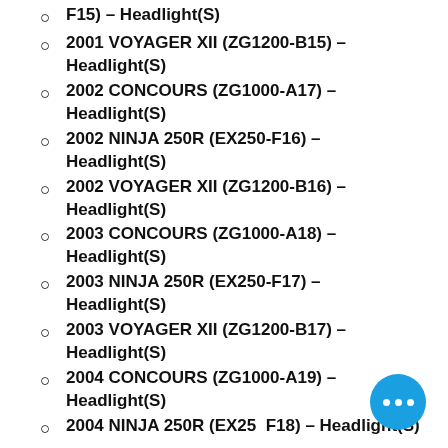F15) – Headlight(S)
2001 VOYAGER XII (ZG1200-B15) – Headlight(S)
2002 CONCOURS (ZG1000-A17) – Headlight(S)
2002 NINJA 250R (EX250-F16) – Headlight(S)
2002 VOYAGER XII (ZG1200-B16) – Headlight(S)
2003 CONCOURS (ZG1000-A18) – Headlight(S)
2003 NINJA 250R (EX250-F17) – Headlight(S)
2003 VOYAGER XII (ZG1200-B17) – Headlight(S)
2004 CONCOURS (ZG1000-A19) – Headlight(S)
2004 NINJA 250R (EX25...F18) – Headlight(S)